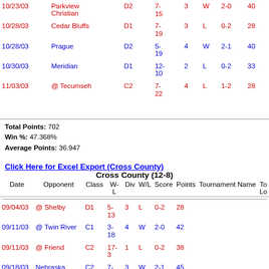| Date | Opponent | Class | W-L | Div | W/L | Score | Points | Tournament Name | To Lo |
| --- | --- | --- | --- | --- | --- | --- | --- | --- | --- |
| 10/23/03 | Parkview Christian | D2 | 7-15 | 3 | W | 2-0 | 40 |  |  |
| 10/28/03 | Cedar Bluffs | D1 | 7-19 | 3 | L | 0-2 | 28 |  |  |
| 10/28/03 | Prague | D2 | 5-19 | 4 | W | 2-1 | 40 |  |  |
| 10/30/03 | Meridian | D1 | 12-10 | 2 | L | 0-2 | 33 |  |  |
| 11/03/03 | @ Tecumseh | C2 | 7-22 | 4 | L | 1-2 | 28 |  |  |
Total Points: 702 Win %: 47.368% Average Points: 36.947
Click Here for Excel Export (Cross County)
Cross County (12-8)
| Date | Opponent | Class | W-L | Div | W/L | Score | Points | Tournament Name | To Lo |
| --- | --- | --- | --- | --- | --- | --- | --- | --- | --- |
| 09/04/03 | @ Shelby | D1 | 5-13 | 3 | L | 0-2 | 28 |  |  |
| 09/11/03 | @ Twin River | C1 | 3-18 | 4 | W | 2-0 | 42 |  |  |
| 09/11/03 | @ Friend | C2 | 17-3 | 1 | L | 0-2 | 38 |  |  |
| 09/18/03 | Nebraska Christian | C2 | 7-11 | 3 | W | 2-1 | 45 |  |  |